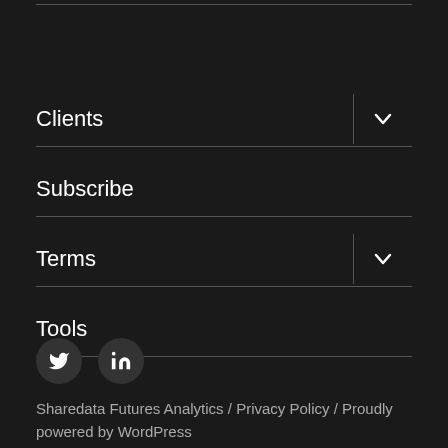Clients
Subscribe
Terms
Tools
[Figure (illustration): Twitter and LinkedIn social media icon buttons (dark circular buttons with white icons)]
Sharedata Futures Analytics / Privacy Policy / Proudly powered by WordPress